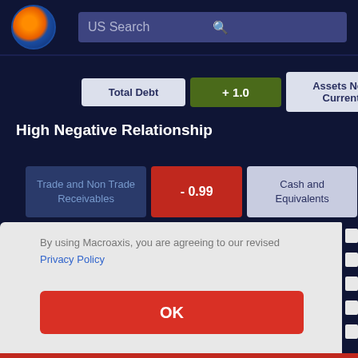US Search
Total Debt  + 1.0  Assets Non Current
High Negative Relationship
Trade and Non Trade Receivables  - 0.99  Cash and Equivalents
By using Macroaxis, you are agreeing to our revised Privacy Policy
OK